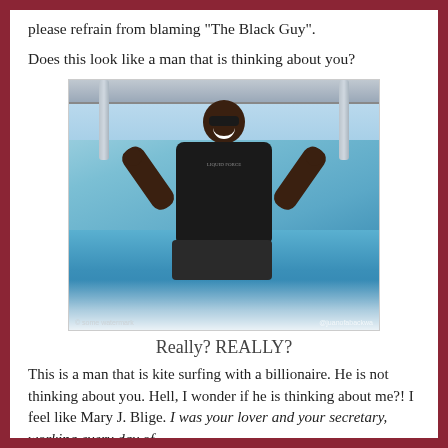please refrain from blaming “The Black Guy”.
Does this look like a man that is thinking about you?
[Figure (photo): A man in a black life vest / kite surfing harness with arms raised overhead, smiling broadly, on a boat or water craft with ocean water visible behind him.]
Really? REALLY?
This is a man that is kite surfing with a billionaire. He is not thinking about you. Hell, I wonder if he is thinking about me?! I feel like Mary J. Blige. I was your lover and your secretary, working every day of